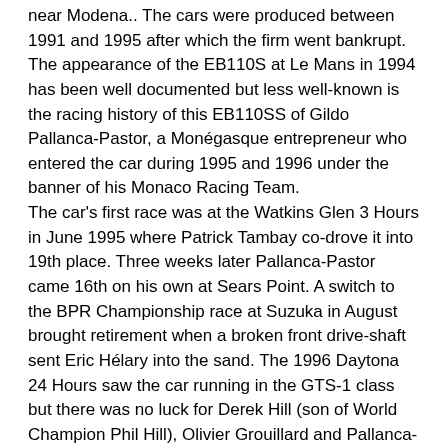near Modena.. The cars were produced between 1991 and 1995 after which the firm went bankrupt. The appearance of the EB110S at Le Mans in 1994 has been well documented but less well-known is the racing history of this EB110SS of Gildo Pallanca-Pastor, a Monégasque entrepreneur who entered the car during 1995 and 1996 under the banner of his Monaco Racing Team. The car's first race was at the Watkins Glen 3 Hours in June 1995 where Patrick Tambay co-drove it into 19th place. Three weeks later Pallanca-Pastor came 16th on his own at Sears Point. A switch to the BPR Championship race at Suzuka in August brought retirement when a broken front drive-shaft sent Eric Hélary into the sand. The 1996 Daytona 24 Hours saw the car running in the GTS-1 class but there was no luck for Derek Hill (son of World Champion Phil Hill), Olivier Grouillard and Pallanca-Pastor, the gearbox failing after 154 laps. Even more disastrous was Tambay's accident at the start of the Le Mans Test Day, effectively ending Pallanca's hopes of running in the 24 Hour race.